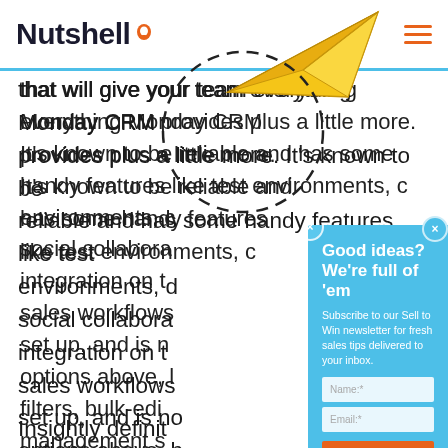Nutshell
that will give your team everything Monday CRM provides plus a little more. It's known to be reliable and has some handy features like test environments, c... social collabora... integration on t... sales workflows... set up, and is n... options above, l... filters, bulk-edi... management s...
[Figure (illustration): Yellow paper plane flying through the air, overlapping with a dashed circle annotation]
[Figure (other): Modal popup with blue background containing newsletter signup form. Title: Good ideas? We're full of 'em. Subtitle: Subscribe to our Sell to Win newsletter for fresh sales tips delivered to your inbox. Input fields for Name and Email, and an orange SIGN UP button.]
Insightly definit...